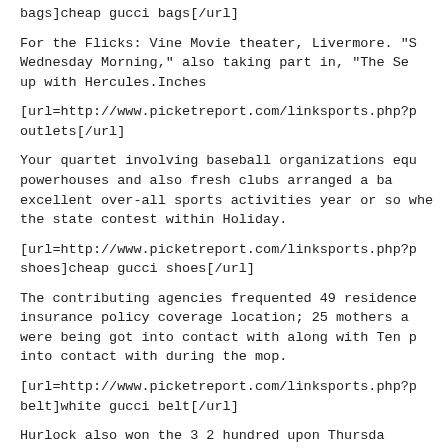bags]cheap gucci bags[/url]
For the Flicks: Vine Movie theater, Livermore. "S Wednesday Morning," also taking part in, "The Se up with Hercules.Inches
[url=http://www.picketreport.com/linksports.php?p outlets[/url]
Your quartet involving baseball organizations equ powerhouses and also fresh clubs arranged a ba excellent over-all sports activities year or so whe the state contest within Holiday.
[url=http://www.picketreport.com/linksports.php?p shoes]cheap gucci shoes[/url]
The contributing agencies frequented 49 residence insurance policy coverage location; 25 mothers a were being got into contact with along with Ten p into contact with during the mop.
[url=http://www.picketreport.com/linksports.php?p belt]white gucci belt[/url]
Hurlock also won the 3 2 hundred upon Thursda